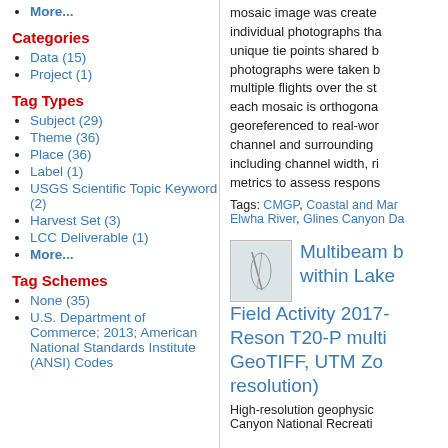More...
Categories
Data (15)
Project (1)
Tag Types
Subject (29)
Theme (36)
Place (36)
Label (1)
USGS Scientific Topic Keyword (2)
Harvest Set (3)
LCC Deliverable (1)
More...
Tag Schemes
None (35)
U.S. Department of Commerce; 2013; American National Standards Institute (ANSI) Codes
mosaic image was created individual photographs that unique tie points shared b photographs were taken b multiple flights over the st each mosaic is orthogona georeferenced to real-wor channel and surrounding including channel width, ri metrics to assess respons
Tags: CMGP, Coastal and Mar Elwha River, Glines Canyon Da
Multibeam b within Lake Field Activity 2017- Reson T20-P multi GeoTIFF, UTM Zo resolution)
High-resolution geophysic Canyon National Recreati